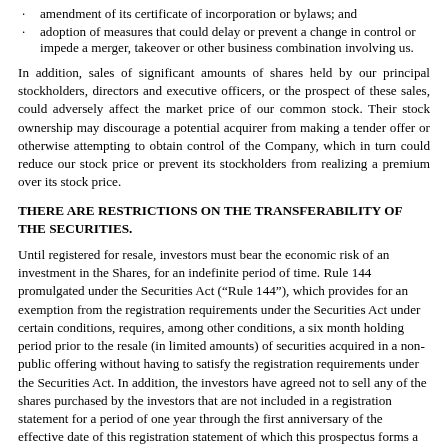amendment of its certificate of incorporation or bylaws; and
adoption of measures that could delay or prevent a change in control or impede a merger, takeover or other business combination involving us.
In addition, sales of significant amounts of shares held by our principal stockholders, directors and executive officers, or the prospect of these sales, could adversely affect the market price of our common stock. Their stock ownership may discourage a potential acquirer from making a tender offer or otherwise attempting to obtain control of the Company, which in turn could reduce our stock price or prevent its stockholders from realizing a premium over its stock price.
THERE ARE RESTRICTIONS ON THE TRANSFERABILITY OF THE SECURITIES.
Until registered for resale, investors must bear the economic risk of an investment in the Shares, for an indefinite period of time. Rule 144 promulgated under the Securities Act (“Rule 144”), which provides for an exemption from the registration requirements under the Securities Act under certain conditions, requires, among other conditions, a six month holding period prior to the resale (in limited amounts) of securities acquired in a non-public offering without having to satisfy the registration requirements under the Securities Act. In addition, the investors have agreed not to sell any of the shares purchased by the investors that are not included in a registration statement for a period of one year through the first anniversary of the effective date of this registration statement of which this prospectus forms a part. There can be no assurance that the Company will fulfill any reporting requirements in the future under the Exchange Act or disseminate to the public any current financial or other information concerning